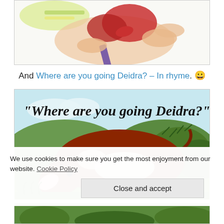[Figure (illustration): Partial cropped illustration showing hands holding a paintbrush with colorful paint, purple handle, on a light background. Top portion of a children's book art.]
And Where are you going Deidra? – In rhyme. 😀
[Figure (illustration): Children's book cover illustration titled 'Where are you going Deidra?' showing a brown and white cow grazing with its head down in a green field with hills and bushes in the background.]
We use cookies to make sure you get the most enjoyment from our website. Cookie Policy
[Figure (illustration): Partial bottom strip of a green field illustration, continuation of the Deidra book images.]